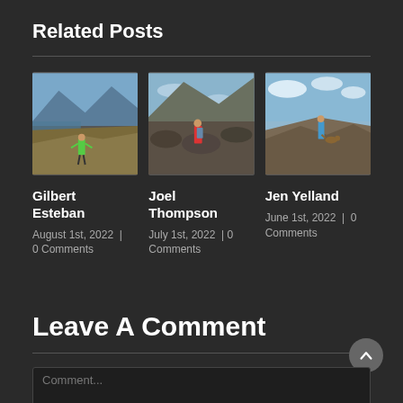Related Posts
[Figure (photo): Trail runner standing on a hillside overlooking a lake and mountains]
Gilbert Esteban
August 1st, 2022  |  0 Comments
[Figure (photo): Person in red shirt sitting on rocky mountain terrain]
Joel Thompson
July 1st, 2022  |  0 Comments
[Figure (photo): Person on rocky mountain summit with expansive city view below]
Jen Yelland
June 1st, 2022  |  0 Comments
Leave A Comment
Comment...